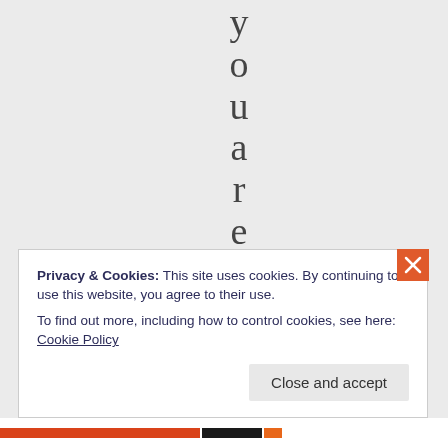y o u a r e l o o k i
Privacy & Cookies: This site uses cookies. By continuing to use this website, you agree to their use.
To find out more, including how to control cookies, see here: Cookie Policy
Close and accept